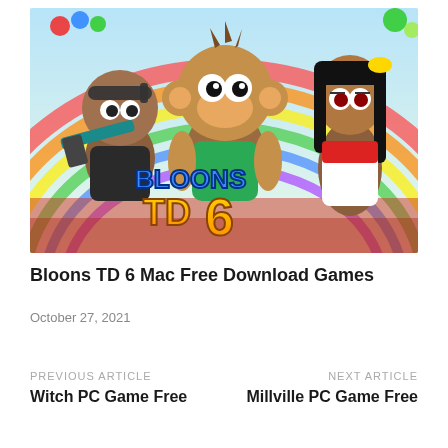[Figure (illustration): Bloons TD 6 game promotional image showing three cartoon monkey characters with weapons and the 'Bloons TD 6' logo in colorful text against a rainbow background]
Bloons TD 6 Mac Free Download Games
October 27, 2021
PREVIOUS ARTICLE
Witch PC Game Free
NEXT ARTICLE
Millville PC Game Free